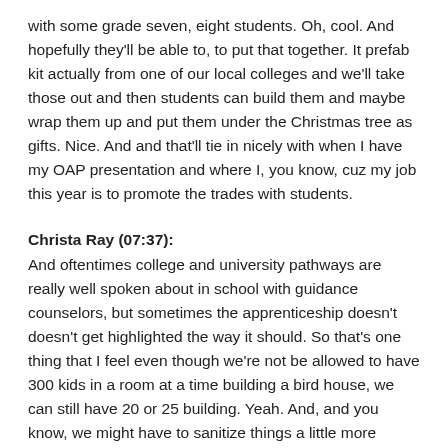with some grade seven, eight students. Oh, cool. And hopefully they'll be able to, to put that together. It prefab kit actually from one of our local colleges and we'll take those out and then students can build them and maybe wrap them up and put them under the Christmas tree as gifts. Nice. And and that'll tie in nicely with when I have my OAP presentation and where I, you know, cuz my job this year is to promote the trades with students.
Christa Ray (07:37):
And oftentimes college and university pathways are really well spoken about in school with guidance counselors, but sometimes the apprenticeship doesn't doesn't get highlighted the way it should. So that's one thing that I feel even though we're not be allowed to have 300 kids in a room at a time building a bird house, we can still have 20 or 25 building. Yeah. And, and you know, we might have to sanitize things a little more